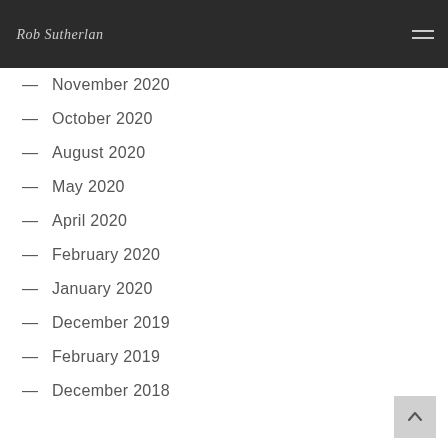Rob Sutherland
November 2020
October 2020
August 2020
May 2020
April 2020
February 2020
January 2020
December 2019
February 2019
December 2018